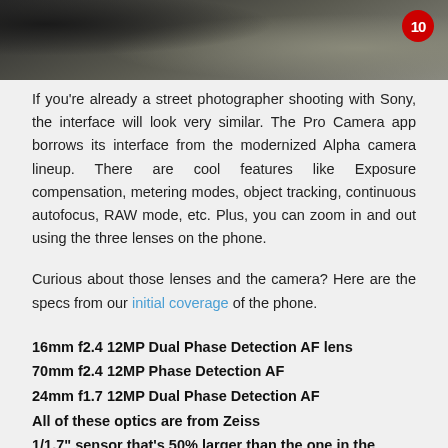[Figure (photo): A dark blurred background photo showing a street scene, with a red circular badge showing '10' in the top right corner]
If you're already a street photographer shooting with Sony, the interface will look very similar. The Pro Camera app borrows its interface from the modernized Alpha camera lineup. There are cool features like Exposure compensation, metering modes, object tracking, continuous autofocus, RAW mode, etc. Plus, you can zoom in and out using the three lenses on the phone.
Curious about those lenses and the camera? Here are the specs from our initial coverage of the phone.
16mm f2.4 12MP Dual Phase Detection AF lens
70mm f2.4 12MP Phase Detection AF
24mm f1.7 12MP Dual Phase Detection AF
All of these optics are from Zeiss
1/1.7" sensor that's 50% larger than the one in the previous phone